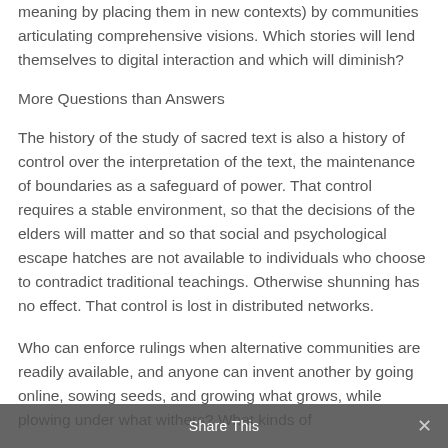meaning by placing them in new contexts) by communities articulating comprehensive visions. Which stories will lend themselves to digital interaction and which will diminish?
More Questions than Answers
The history of the study of sacred text is also a history of control over the interpretation of the text, the maintenance of boundaries as a safeguard of power. That control requires a stable environment, so that the decisions of the elders will matter and so that social and psychological escape hatches are not available to individuals who choose to contradict traditional teachings. Otherwise shunning has no effect. That control is lost in distributed networks.
Who can enforce rulings when alternative communities are readily available, and anyone can invent another by going online, sowing seeds, and growing what grows, while plowing under what withers? What kinds of